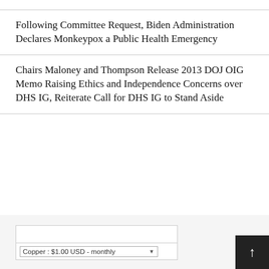Following Committee Request, Biden Administration Declares Monkeypox a Public Health Emergency
Chairs Maloney and Thompson Release 2013 DOJ OIG Memo Raising Ethics and Independence Concerns over DHS IG, Reiterate Call for DHS IG to Stand Aside